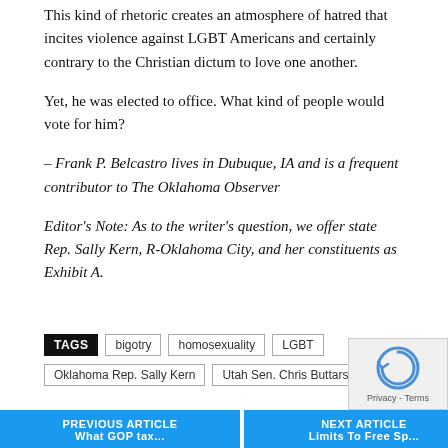This kind of rhetoric creates an atmosphere of hatred that incites violence against LGBT Americans and certainly contrary to the Christian dictum to love one another.
Yet, he was elected to office. What kind of people would vote for him?
– Frank P. Belcastro lives in Dubuque, IA and is a frequent contributor to The Oklahoma Observer
Editor's Note: As to the writer's question, we offer state Rep. Sally Kern, R-Oklahoma City, and her constituents as Exhibit A.
TAGS  bigotry  homosexuality  LGBT  Oklahoma Rep. Sally Kern  Utah Sen. Chris Buttars
PREVIOUS ARTICLE  NEXT ARTICLE